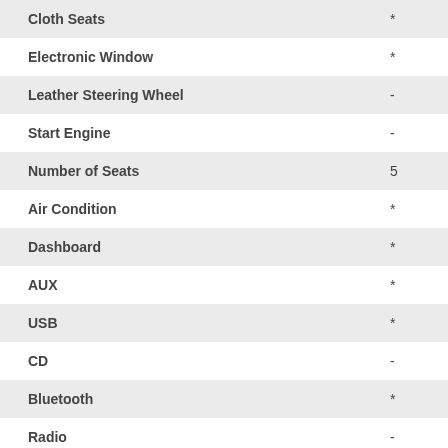| Feature | Value |
| --- | --- |
| Cloth Seats | * |
| Electronic Window | * |
| Leather Steering Wheel | - |
| Start Engine | - |
| Number of Seats | 5 |
| Air Condition | * |
| Dashboard | * |
| AUX | * |
| USB | * |
| CD | - |
| Bluetooth | * |
| Radio | - |